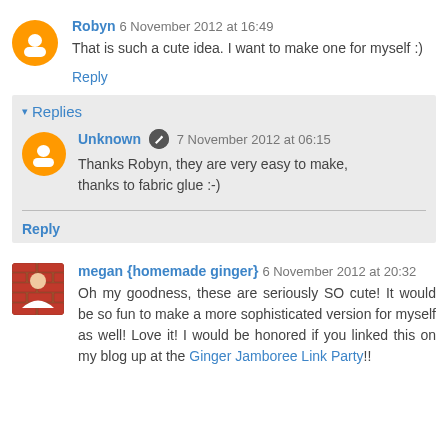Robyn 6 November 2012 at 16:49
That is such a cute idea. I want to make one for myself :)
Reply
▼ Replies
Unknown 7 November 2012 at 06:15
Thanks Robyn, they are very easy to make, thanks to fabric glue :-)
Reply
megan {homemade ginger} 6 November 2012 at 20:32
Oh my goodness, these are seriously SO cute! It would be so fun to make a more sophisticated version for myself as well! Love it! I would be honored if you linked this on my blog up at the Ginger Jamboree Link Party!!